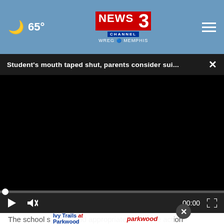NEWS CHANNEL 3 WREG MEMPHIS | 65°
Student's mouth taped shut, parents consider sui...
[Figure (screenshot): Black video player screen with progress bar at zero, play button, mute button, time 00:00, and fullscreen button on dark control bar]
The school system said appropriate corrective action had be... ents consider the matter to be closed
[Figure (other): Advertisement overlay: Ivy Trails at Parkwood - Dedicated to the specific mental healthcare needs of women. Parkwood Behavioral Health System - Coming Soon! Learn More. With a close (X) button.]